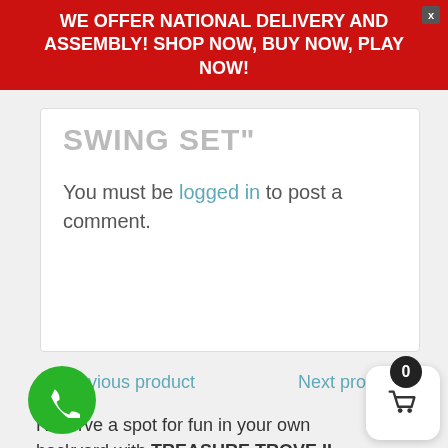WE OFFER NATIONAL DELIVERY AND ASSEMBLY! SHOP NOW, BUY NOW, PLAY NOW!
SWING SET"
You must be logged in to post a comment.
◄ Previous product     Next product ►
Reserve a spot for fun in your own backyard with TREASURE TROVE II SWING SET! Your kids will have a terrific time in your yard. Throw in some accessories